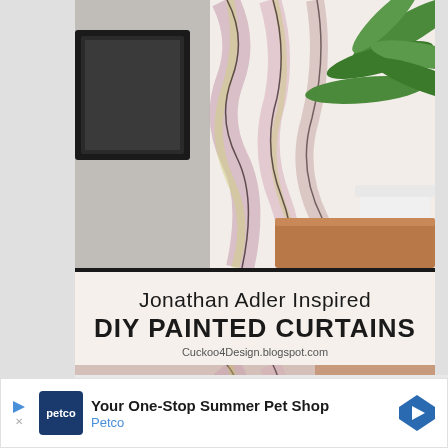[Figure (photo): Photo of painted curtains with colorful wavy abstract pattern in pinks, purples, yellows, and blacks, styled in a room with a dark-framed mirror, a green tropical plant, and a white pot on a wooden surface. The image is split by a title band in the middle. Blog watermark: Cuckoo4Design.blogspot.com.]
Jonathan Adler Inspired
DIY PAINTED CURTAINS
Cuckoo4Design.blogspot.com
[Figure (screenshot): Advertisement banner for Petco: 'Your One-Stop Summer Pet Shop' with Petco logo and a blue directional arrow icon.]